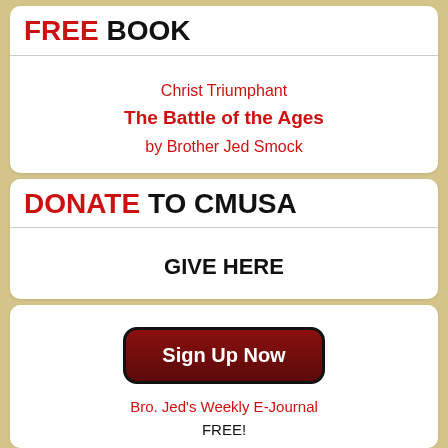FREE BOOK
Christ Triumphant
The Battle of the Ages
by Brother Jed Smock
DONATE TO CMUSA
GIVE HERE
[Figure (other): Dark red rounded button with text 'Sign Up Now']
Bro. Jed's Weekly E-Journal
FREE!